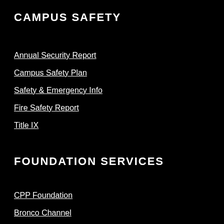CAMPUS SAFETY
Annual Security Report
Campus Safety Plan
Safety & Emergency Info
Fire Safety Report
Title IX
FOUNDATION SERVICES
CPP Foundation
Bronco Channel
Bronco Bucks